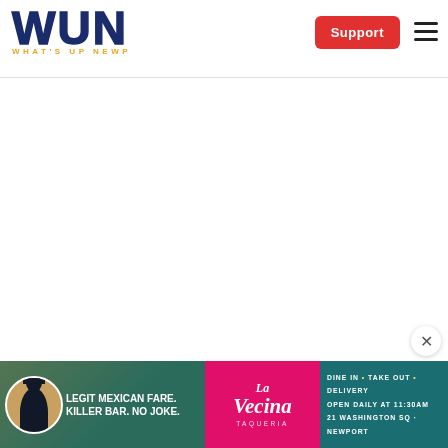WUN WHAT'S UP NEWP — Support button and navigation menu
[Figure (advertisement): La Vecina Taqueria ad banner: 'Legit Mexican Fare. Killer Bar. No Joke.' Dine In • Take Out • Delivery. Open Daily at 11:30AM. 21 Washington Sq • Newport]